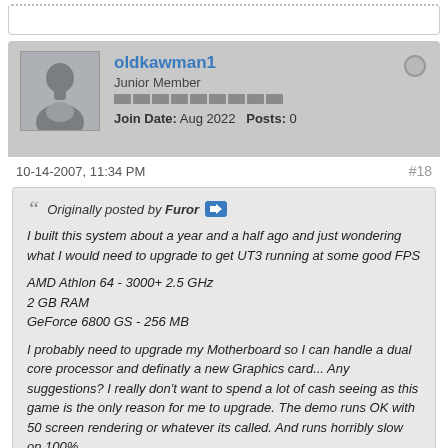oldkawman1 — Junior Member — Join Date: Aug 2022   Posts: 0
10-14-2007, 11:34 PM   #18
Originally posted by Furor
I built this system about a year and a half ago and just wondering what I would need to upgrade to get UT3 running at some good FPS

AMD Athlon 64 - 3000+ 2.5 GHz
2 GB RAM
GeForce 6800 GS - 256 MB

I probably need to upgrade my Motherboard so I can handle a dual core processor and definatly a new Graphics card... Any suggestions? I really don't want to spend a lot of cash seeing as this game is the only reason for me to upgrade. The demo runs OK with 50 screen rendering or whatever its called. And runs horribly slow on 100%.
That's been a long time since then, let me say at least 600...